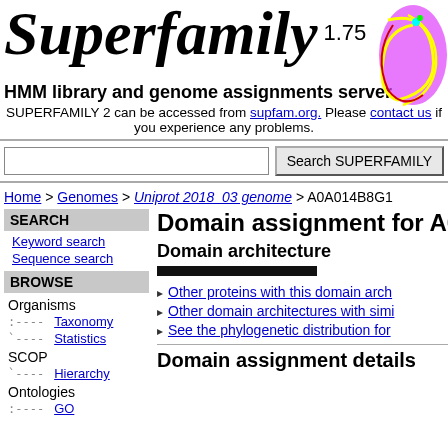Superfamily 1.75
HMM library and genome assignments server
SUPERFAMILY 2 can be accessed from supfam.org. Please contact us if you experience any problems.
Search SUPERFAMILY (search bar)
Home > Genomes > Uniprot 2018_03 genome > A0A014B8G1
SEARCH
Keyword search
Sequence search
BROWSE
Organisms
Taxonomy
Statistics
SCOP
Hierarchy
Ontologies
GO
Domain assignment for A0A0
Domain architecture
Other proteins with this domain arch
Other domain architectures with simi
See the phylogenetic distribution for
Domain assignment details